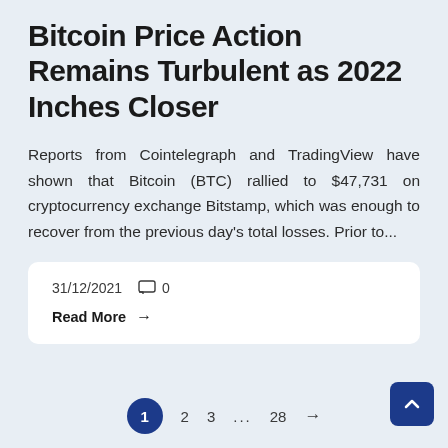Bitcoin Price Action Remains Turbulent as 2022 Inches Closer
Reports from Cointelegraph and TradingView have shown that Bitcoin (BTC) rallied to $47,731 on cryptocurrency exchange Bitstamp, which was enough to recover from the previous day's total losses. Prior to...
31/12/2021  0
Read More →
1  2  3  ...  28  →